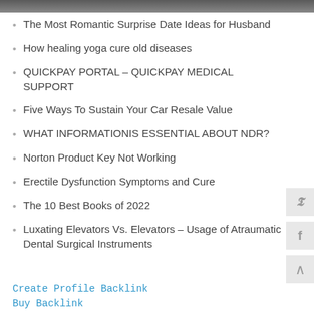[Figure (photo): Top strip image, partially visible]
The Most Romantic Surprise Date Ideas for Husband
How healing yoga cure old diseases
QUICKPAY PORTAL – QUICKPAY MEDICAL SUPPORT
Five Ways To Sustain Your Car Resale Value
WHAT INFORMATIONIS ESSENTIAL ABOUT NDR?
Norton Product Key Not Working
Erectile Dysfunction Symptoms and Cure
The 10 Best Books of 2022
Luxating Elevators Vs. Elevators – Usage of Atraumatic Dental Surgical Instruments
Create Profile Backlink
Buy Backlink